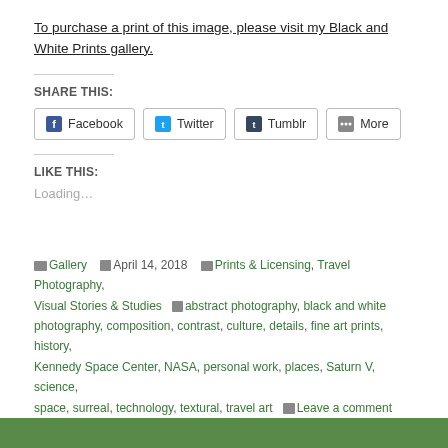To purchase a print of this image, please visit my Black and White Prints gallery.
SHARE THIS:
Facebook  Twitter  Tumblr  More
LIKE THIS:
Loading...
Gallery  April 14, 2018  Prints & Licensing, Travel Photography, Visual Stories & Studies  abstract photography, black and white photography, composition, contrast, culture, details, fine art prints, history, Kennedy Space Center, NASA, personal work, places, Saturn V, science, space, surreal, technology, textural, travel art  Leave a comment